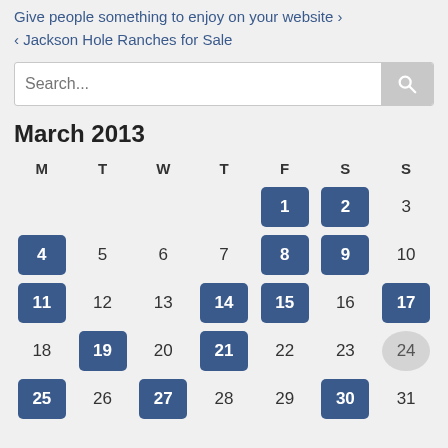Give people something to enjoy on your website >
< Jackson Hole Ranches for Sale
[Figure (screenshot): Search input bar with magnifying glass icon]
March 2013
| M | T | W | T | F | S | S |
| --- | --- | --- | --- | --- | --- | --- |
|  |  |  |  | 1 | 2 | 3 |
| 4 | 5 | 6 | 7 | 8 | 9 | 10 |
| 11 | 12 | 13 | 14 | 15 | 16 | 17 |
| 18 | 19 | 20 | 21 | 22 | 23 | 24 |
| 25 | 26 | 27 | 28 | 29 | 30 | 31 |